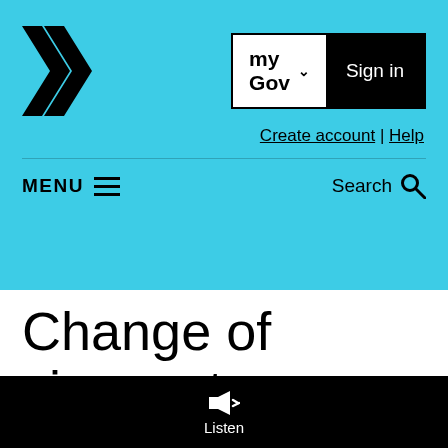myGov | Sign in
Create account | Help
MENU
Search
Change of circumstances
Listen